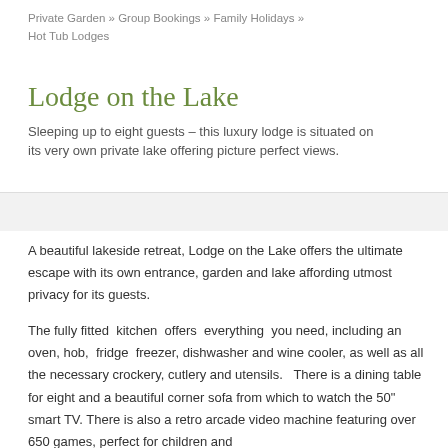Private Garden » Group Bookings » Family Holidays » Hot Tub Lodges
Lodge on the Lake
Sleeping up to eight guests – this luxury lodge is situated on its very own private lake offering picture perfect views.
A beautiful lakeside retreat, Lodge on the Lake offers the ultimate escape with its own entrance, garden and lake affording utmost privacy for its guests.
The fully fitted kitchen offers everything you need, including an oven, hob, fridge freezer, dishwasher and wine cooler, as well as all the necessary crockery, cutlery and utensils. There is a dining table for eight and a beautiful corner sofa from which to watch the 50" smart TV. There is also a retro arcade video machine featuring over 650 games, perfect for children and